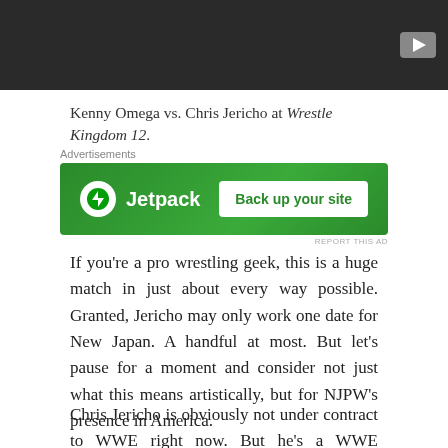[Figure (screenshot): Dark video thumbnail with a grey play button in the top-right corner]
Kenny Omega vs. Chris Jericho at Wrestle Kingdom 12.
[Figure (other): Jetpack advertisement banner with green background, Jetpack logo on the left and 'Back up your site' button on the right]
If you're a pro wrestling geek, this is a huge match in just about every way possible. Granted, Jericho may only work one date for New Japan. A handful at most. But let's pause for a moment and consider not just what this means artistically, but for NJPW's presence in America.
Chris Jericho is obviously not under contract to WWE right now. But he's a WWE superstar in every sense of the word. When he's gone, it's just for a...